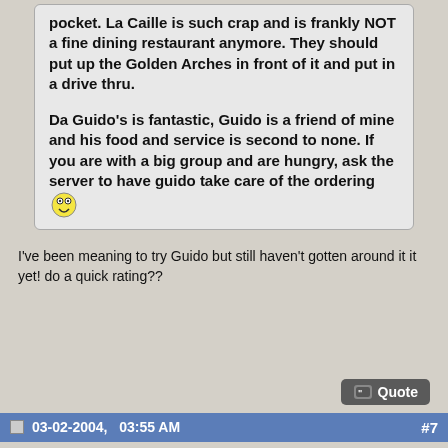pocket. La Caille is such crap and is frankly NOT a fine dining restaurant anymore. They should put up the Golden Arches in front of it and put in a drive thru.

Da Guido's is fantastic, Guido is a friend of mine and his food and service is second to none. If you are with a big group and are hungry, ask the server to have guido take care of the ordering 😲
I've been meaning to try Guido but still haven't gotten around it it yet! do a quick rating??
Quote
03-02-2004,   03:55 AM   #7
Join Date: Ju
Posts: 167
Rep Power: 0